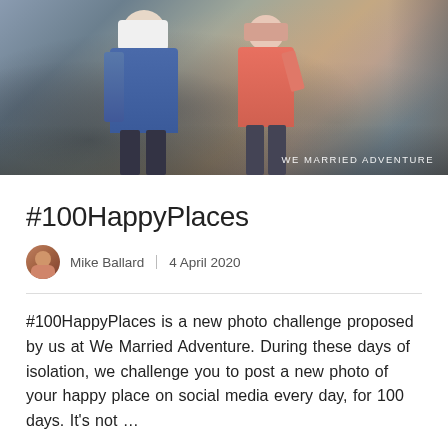[Figure (photo): Two people photographed from behind on a stone street. One person on the left wearing a blue backpack and white cap, one on the right in a pink top taking a photo. Watermark reads 'WE MARRIED ADVENTURE'.]
#100HappyPlaces
Mike Ballard  |  4 April 2020
#100HappyPlaces is a new photo challenge proposed by us at We Married Adventure. During these days of isolation, we challenge you to post a new photo of your happy place on social media every day, for 100 days. It's not …
READ MORE